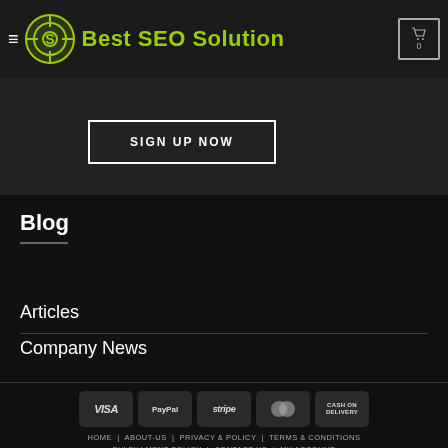from this base we can offer our clients a wide range of services | Best SEO Solution | 0
SIGN UP NOW
Blog
Articles
Company News
[Figure (other): Payment method badges: VISA, PayPal, stripe, MasterCard, CASH ON DELIVERY]
HOME  ABOUT-US  PRIVACY & POLICY  TERMS & CONDITIONS  FULFILLMENT POLICY  CONTACT US  MY ACCOUNT
Copyright 2022 © Best SEO Solution 1859 Winery Way, Tallahassee, FL, 32317, USA. A WebYoda Product